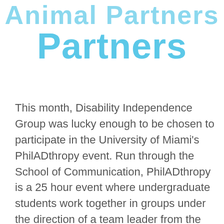Animal Partners
This month, Disability Independence Group was lucky enough to be chosen to participate in the University of Miami's PhilADthropy event. Run through the School of Communication, PhilADthropy is a 25 hour event where undergraduate students work together in groups under the direction of a team leader from the community in order to provide 16 local nonprofit organizations with free advertising and creative services. As one of the chosen nonprofits, DIG was able to present our team with information and material about our new Animal Partners